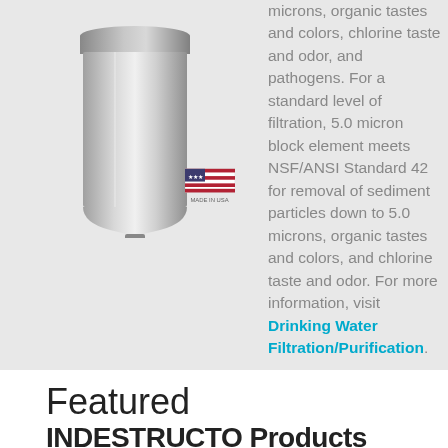[Figure (photo): A stainless steel water filter canister with a small fitting at the bottom, shown against a light gray background. A 'Made in USA' flag badge is visible in the lower right of the image area.]
microns, organic tastes and colors, chlorine taste and odor, and pathogens. For a standard level of filtration, 5.0 micron block element meets NSF/ANSI Standard 42 for removal of sediment particles down to 5.0 microns, organic tastes and colors, and chlorine taste and odor. For more information, visit Drinking Water Filtration/Purification.
Featured INDESTRUCTO...